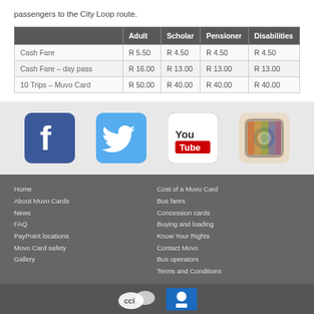passengers to the City Loop route.
|  | Adult | Scholar | Pensioner | Disabilities |
| --- | --- | --- | --- | --- |
| Cash Fare | R 5.50 | R 4.50 | R 4.50 | R 4.50 |
| Cash Fare – day pass | R 16.00 | R 13.00 | R 13.00 | R 13.00 |
| 10 Trips – Muvo Card | R 50.00 | R 40.00 | R 40.00 | R 40.00 |
[Figure (logo): Social media icons: Facebook, Twitter, YouTube, Instagram]
Home
About Muvo Cards
News
FAQ
PayPoint locations
Muvo Card safety
Gallery
Cost of a Muvo Card
Bus fares
Concession cards
Buying and loading
Know Your Rights
Contact Muvo
Bus operators
Terms and Conditions
[Figure (logo): Two logos at bottom of page]